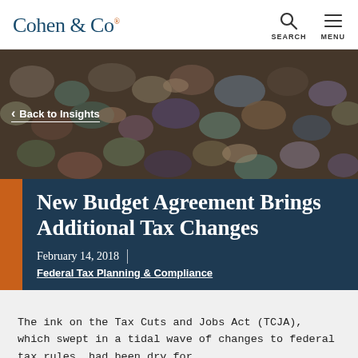Cohen & Co
[Figure (photo): Colorful river stones/pebbles used as hero background image]
Back to Insights
New Budget Agreement Brings Additional Tax Changes
February 14, 2018
Federal Tax Planning & Compliance
The ink on the Tax Cuts and Jobs Act (TCJA), which swept in a tidal wave of changes to federal tax rules, had been dry for